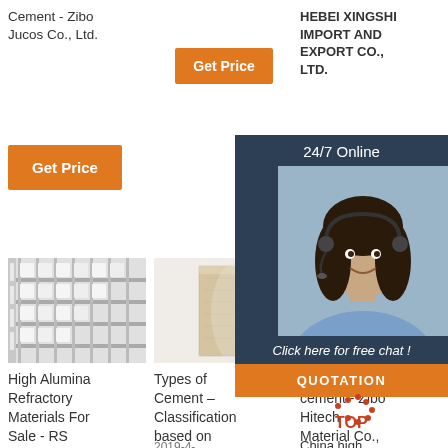Cement - Zibo Jucos Co., Ltd.
[Figure (other): Orange Get Price button (large)]
[Figure (other): Orange Get Price button (col1)]
HEBEI XINGSHI IMPORT AND EXPORT CO., LTD.
[Figure (other): 24/7 Online chat widget with customer service representative photo, Click here for free chat!, and QUOTATION button]
[Figure (photo): High alumina refractory bricks stacked on shelves]
High Alumina Refractory Materials For Sale - RS
[Figure (photo): Single rectangular beige/cream colored refractory brick]
Types of Cement – Classification based on standards ...
2019-4-
[Figure (photo): Partial image of refractory brick/material]
high alumina cement - Zibo Hitech Material Co., Ltd. -
China high